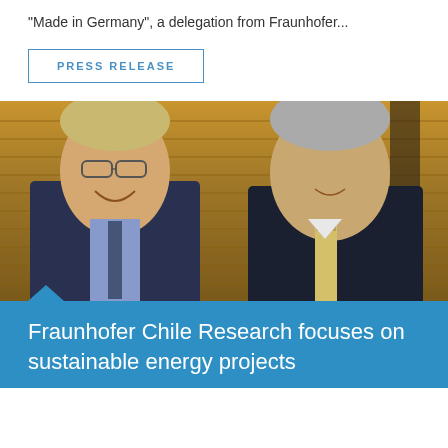"Made in Germany", a delegation from Fraunhofer...
PRESS RELEASE
[Figure (photo): Two men in suits shaking hands in front of a wooden panel background. The man on the left is wearing glasses and a blue shirt with a tie, smiling. The man on the right has grey hair and is wearing a light yellow tie.]
Fraunhofer Chile Research focuses on sustainable energy projects